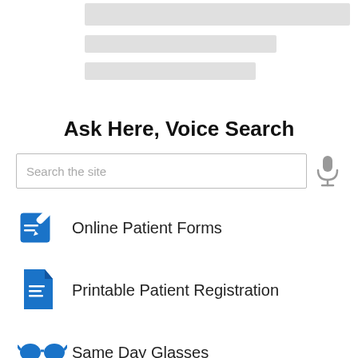[Figure (other): Placeholder gray bars at top of page representing blurred/loading content]
Ask Here, Voice Search
Search the site
Online Patient Forms
Printable Patient Registration
Same Day Glasses
Read Our Reviews